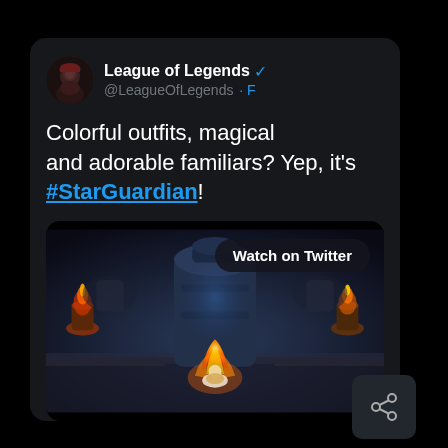[Figure (screenshot): Twitter/X post from League of Legends (@LeagueOfLegends) showing a League of Legends Star Guardian gameplay video thumbnail with 'Watch on Twitter' badge, and a share icon in the bottom right corner.]
League of Legends @LeagueOfLegends · F
Colorful outfits, magical and adorable familiars? Yep, it's #StarGuardian!